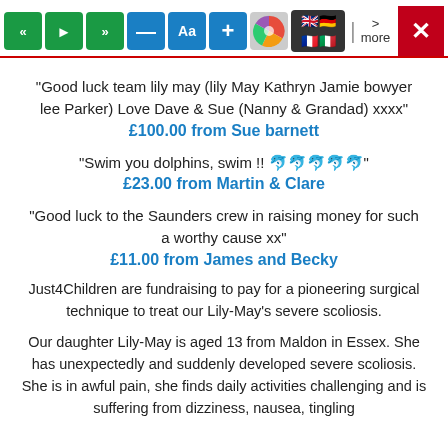[Figure (screenshot): Toolbar with media control buttons: rewind (green), play (green), fast-forward (green), minus (blue), Aa (blue), plus (blue), color wheel (gray), flags (dark), separator, more text, and X close button (red).]
"Good luck team lily may (lily May Kathryn Jamie bowyer lee Parker) Love Dave & Sue (Nanny & Grandad) xxxx"
£100.00 from Sue barnett
"Swim you dolphins, swim !! 🐬🐬🐬🐬🐬"
£23.00 from Martin & Clare
"Good luck to the Saunders crew in raising money for such a worthy cause xx"
£11.00 from James and Becky
Just4Children are fundraising to pay for a pioneering surgical technique to treat our Lily-May's severe scoliosis.
Our daughter Lily-May is aged 13 from Maldon in Essex. She has unexpectedly and suddenly developed severe scoliosis. She is in awful pain, she finds daily activities challenging and is suffering from dizziness, nausea, tingling